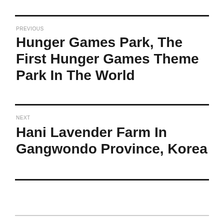PREVIOUS
Hunger Games Park, The First Hunger Games Theme Park In The World
NEXT
Hani Lavender Farm In Gangwondo Province, Korea